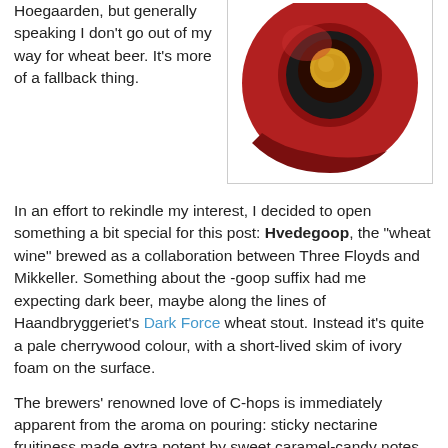Hoegaarden, but generally speaking I don't go out of my way for wheat beer. It's more of a fallback thing.
[Figure (photo): Close-up photo of a bottle cap or beer label in red, black and yellow colors, circular design]
In an effort to rekindle my interest, I decided to open something a bit special for this post: Hvedegoop, the "wheat wine" brewed as a collaboration between Three Floyds and Mikkeller. Something about the -goop suffix had me expecting dark beer, maybe along the lines of Haandbryggeriet's Dark Force wheat stout. Instead it's quite a pale cherrywood colour, with a short-lived skim of ivory foam on the surface.
The brewers' renowned love of C-hops is immediately apparent from the aroma on pouring: sticky nectarine fruitiness made extra potent by sweet caramel-candy notes from the malt backbone. That this is a strong sipper (10.4% ABV) is never in doubt.
[Figure (photo): Photo of a dark brown beer bottle on a light grey background]
One expects a certain soft mouthfeel from wheat beers but there's none of that here, instead the mouthfeel is...